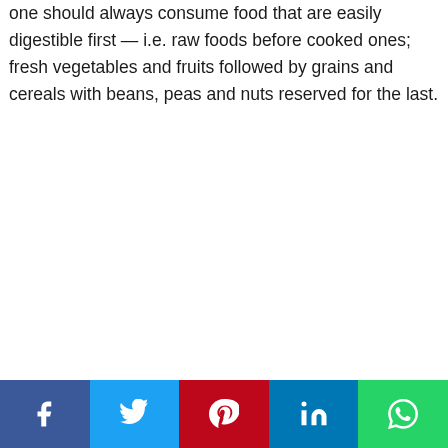one should always consume food that are easily digestible first — i.e. raw foods before cooked ones; fresh vegetables and fruits followed by grains and cereals with beans, peas and nuts reserved for the last.
Social share bar: Facebook, Twitter, Pinterest, LinkedIn, WhatsApp